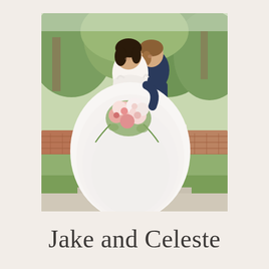[Figure (photo): Wedding photo of a bride in a large white ball gown holding a lush bouquet of pink and white flowers with greenery, and a groom in a navy suit leaning in behind her. They are outdoors on a stone patio with a brick balustrade and green trees in the background. Both are smiling and looking downward.]
Jake and Celeste